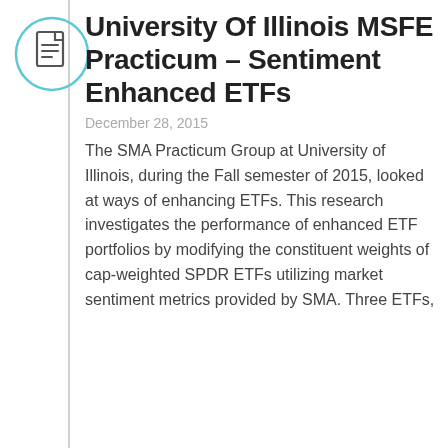[Figure (illustration): Document/report icon inside a light blue circle outline]
University Of Illinois MSFE Practicum – Sentiment Enhanced ETFs
December 28, 2015
The SMA Practicum Group at University of Illinois, during the Fall semester of 2015, looked at ways of enhancing ETFs. This research investigates the performance of enhanced ETF portfolios by modifying the constituent weights of cap-weighted SPDR ETFs utilizing market sentiment metrics provided by SMA. Three ETFs,